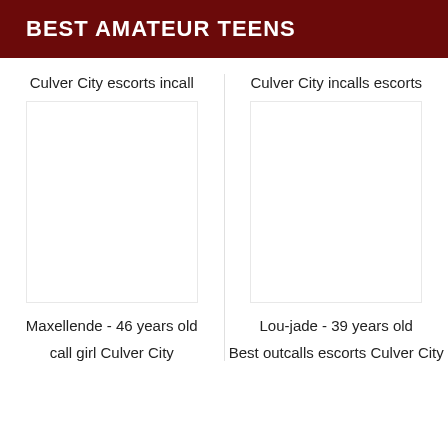BEST AMATEUR TEENS
Culver City escorts incall
Culver City incalls escorts
Maxellende - 46 years old
Lou-jade - 39 years old
call girl Culver City
Best outcalls escorts Culver City